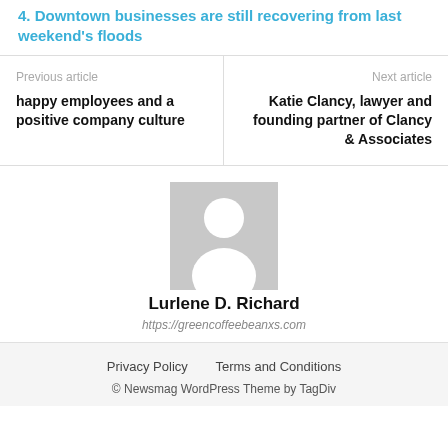4. Downtown businesses are still recovering from last weekend's floods
Previous article
happy employees and a positive company culture
Next article
Katie Clancy, lawyer and founding partner of Clancy & Associates
[Figure (illustration): Generic user avatar placeholder image — gray silhouette of a person on light gray background]
Lurlene D. Richard
https://greencoffeebeanxs.com
Privacy Policy   Terms and Conditions
© Newsmag WordPress Theme by TagDiv